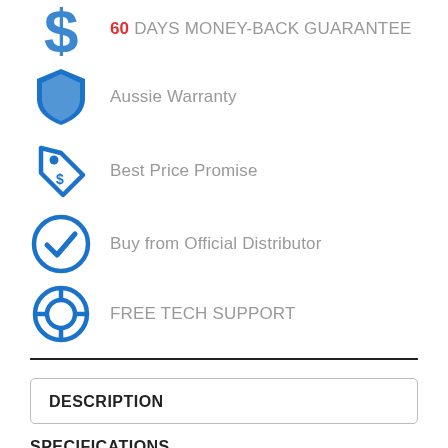60 DAYS MONEY-BACK GUARANTEE
Aussie Warranty
Best Price Promise
Buy from Official Distributor
FREE TECH SUPPORT
DESCRIPTION
SPECIFICATIONS